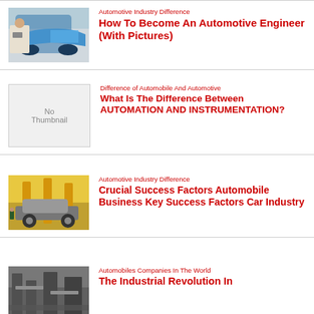[Figure (photo): Man with laptop next to blue sports car]
Automotive Industry Difference
How To Become An Automotive Engineer (With Pictures)
[Figure (photo): No Thumbnail placeholder]
Difference of Automobile And Automotive
What Is The Difference Between AUTOMATION AND INSTRUMENTATION?
[Figure (photo): Car factory assembly line with yellow robotic arms]
Automotive Industry Difference
Crucial Success Factors Automobile Business Key Success Factors Car Industry
[Figure (photo): Black and white industrial machinery photo]
Automobiles Companies In The World
The Industrial Revolution In Transportation